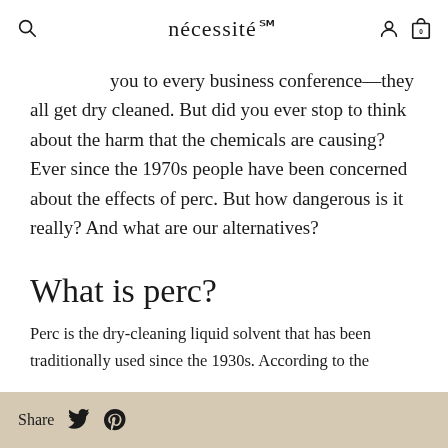nécessité
you to every business conference—they all get dry cleaned. But did you ever stop to think about the harm that the chemicals are causing? Ever since the 1970s people have been concerned about the effects of perc. But how dangerous is it really? And what are our alternatives?
What is perc?
Perc is the dry-cleaning liquid solvent that has been traditionally used since the 1930s. According to the
Share